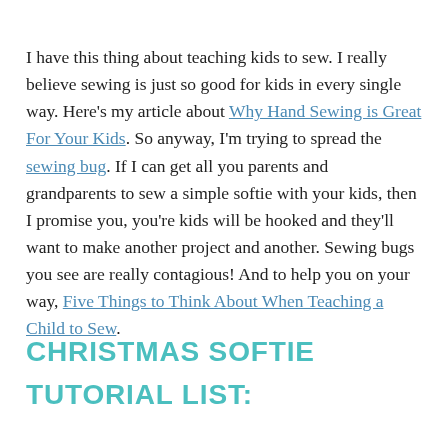I have this thing about teaching kids to sew. I really believe sewing is just so good for kids in every single way. Here's my article about Why Hand Sewing is Great For Your Kids. So anyway, I'm trying to spread the sewing bug. If I can get all you parents and grandparents to sew a simple softie with your kids, then I promise you, you're kids will be hooked and they'll want to make another project and another. Sewing bugs you see are really contagious! And to help you on your way, Five Things to Think About When Teaching a Child to Sew.
CHRISTMAS SOFTIE TUTORIAL LIST: